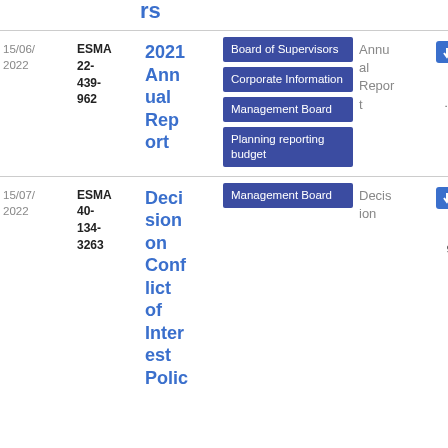| Date | Reference | Title | Tags | Type | PDF |
| --- | --- | --- | --- | --- | --- |
| 15/06/
2022 | ESMA
22-
439-
962 | 2021 Annual Report | Board of Supervisors | Corporate Information | Management Board | Planning reporting budget | Annual Report | PDF 10.64 MB |
| 15/07/
2022 | ESMA
40-
134-
3263 | Decision on Conflict of Interest Polic | Management Board | Decision | PDF 169.2 KB |